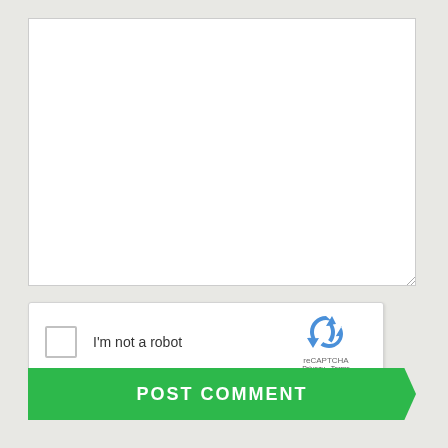[Figure (screenshot): Empty white textarea input box with resize handle at bottom right]
[Figure (screenshot): reCAPTCHA widget with checkbox labeled 'I'm not a robot' and reCAPTCHA logo with Privacy and Terms links]
POST COMMENT